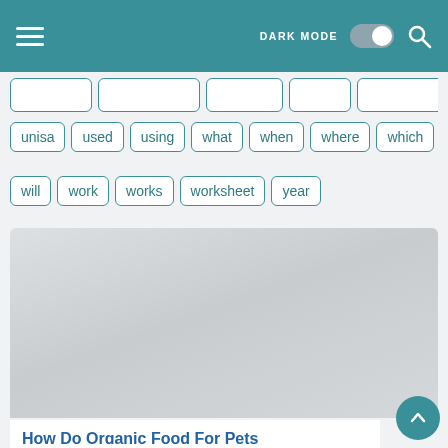DARK MODE [toggle] [search]
unisa  used  using  what  when  where  which
will  work  works  worksheet  year
[Figure (photo): Blurred/placeholder image for article about organic food for pets]
How Do Organic Food For Pets
How Do Organic Food For Pets . The verdict is still o…